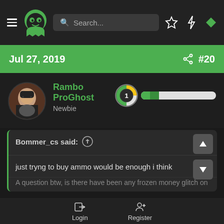[Figure (screenshot): Mobile app navigation bar with hamburger menu, green ghost logo, search bar, star icon, lightning bolt icon, and green diamond icon]
Jul 27, 2019  #20
Rambo ProGhost
Newbie
[Figure (infographic): Level 1 badge with green progress bar]
Bommer_cs said: ↑
just tryng to buy ammo would be enough i think
A question btw, is there have been any frozen money glitch on
Login  Register